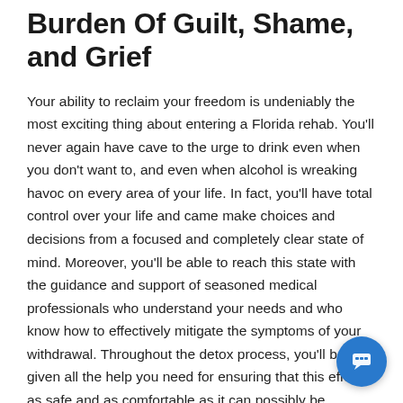Burden Of Guilt, Shame, and Grief
Your ability to reclaim your freedom is undeniably the most exciting thing about entering a Florida rehab. You'll never again have cave to the urge to drink even when you don't want to, and even when alcohol is wreaking havoc on every area of your life. In fact, you'll have total control over your life and came make choices and decisions from a focused and completely clear state of mind. Moreover, you'll be able to reach this state with the guidance and support of seasoned medical professionals who understand your needs and who know how to effectively mitigate the symptoms of your withdrawal. Throughout the detox process, you'll be given all the help you need for ensuring that this effort is as safe and as comfortable as it can possibly be.
Once you've completed detoxing in a Florida alcohol rehab, you'll start working to understand the causes of your addiction. Learning what lies at the heart of addictive behaviors makes it